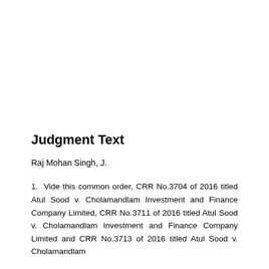Judgment Text
Raj Mohan Singh, J.
1. Vide this common order, CRR No.3704 of 2016 titled Atul Sood v. Cholamandlam Investment and Finance Company Limited, CRR No.3711 of 2016 titled Atul Sood v. Cholamandlam Investment and Finance Company Limited and CRR No.3713 of 2016 titled Atul Sood v. Cholamandlam